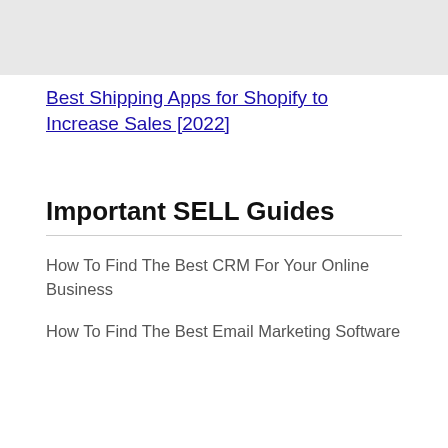[Figure (other): Gray image placeholder at top of page]
Best Shipping Apps for Shopify to Increase Sales [2022]
Important SELL Guides
How To Find The Best CRM For Your Online Business
How To Find The Best Email Marketing Software